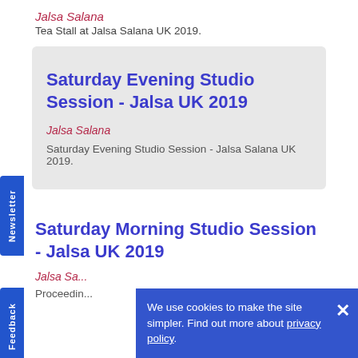Jalsa Salana
Tea Stall at Jalsa Salana UK 2019.
Saturday Evening Studio Session - Jalsa UK 2019
Jalsa Salana
Saturday Evening Studio Session - Jalsa Salana UK 2019.
Saturday Morning Studio Session - Jalsa UK 2019
Jalsa Salana
Proceedings ...
We use cookies to make the site simpler. Find out more about privacy policy.